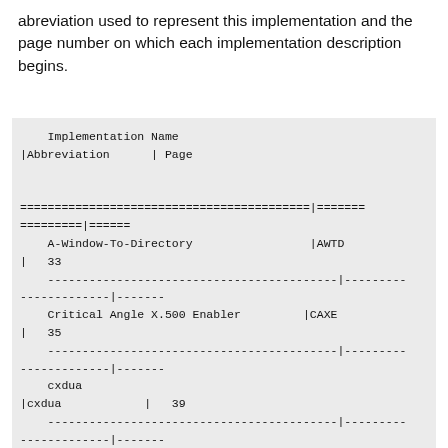abreviation used to represent this implementation and the page number on which each implementation description begins.
| Implementation Name | Abbreviation | Page |
| --- | --- | --- |
| A-Window-To-Directory | AWTD | 33 |
| Critical Angle X.500 Enabler | CAXE | 35 |
| cxdua | cxdua | 39 |
| Cycle (tm) LiveData (tm) |  |  |